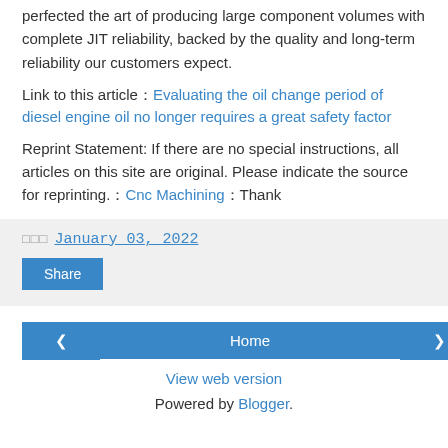perfected the art of producing large component volumes with complete JIT reliability, backed by the quality and long-term reliability our customers expect.
Link to this article：Evaluating the oil change period of diesel engine oil no longer requires a great safety factor
Reprint Statement: If there are no special instructions, all articles on this site are original. Please indicate the source for reprinting.：Cnc Machining：Thank
□□□ January 03, 2022
Share
‹
Home
›
View web version
Powered by Blogger.